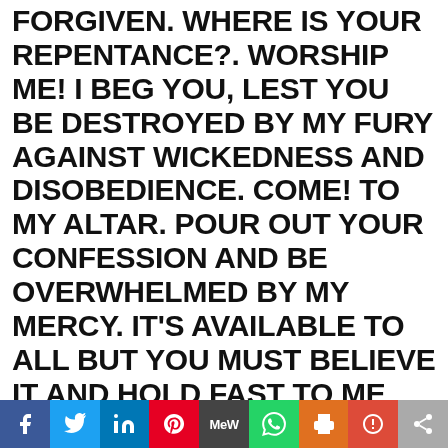FORGIVEN. WHERE IS YOUR REPENTANCE?. WORSHIP ME! I BEG YOU, LEST YOU BE DESTROYED BY MY FURY AGAINST WICKEDNESS AND DISOBEDIENCE. COME! TO MY ALTAR. POUR OUT YOUR CONFESSION AND BE OVERWHELMED BY MY MERCY. IT'S AVAILABLE TO ALL BUT YOU MUST BELIEVE IT AND HOLD FAST TO ME WITH ALL YOUR HEARTS. EAT AND DRINK WHAT I GIVE YOU. GO WHERE I SEND YOU. MY PEACE I GIVE TO YOU. DO NOT LET YOUR HEARTS BE TROUBLED. I HAVE OVERCOME ALL THIS SINCE THE BEGINNING. MARRY MY SON. WALK WITH HIM AND I. IT'S MUCH EASIER THAN YOU'RE EXPECTING. STOP DOUBTING AND BELIEVE IN ME! I AM THE GOD WHO WAS, AND IS, AND IS TO
[Figure (infographic): Social sharing bar with icons: Facebook, Twitter, LinkedIn, Pinterest, MeWe, WhatsApp, Print, Parler, Share]